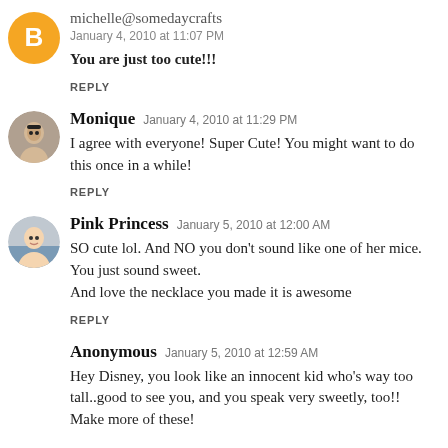michelle@somedaycrafts January 4, 2010 at 11:07 PM
You are just too cute!!!
REPLY
Monique January 4, 2010 at 11:29 PM
I agree with everyone! Super Cute! You might want to do this once in a while!
REPLY
Pink Princess January 5, 2010 at 12:00 AM
SO cute lol. And NO you don't sound like one of her mice. You just sound sweet.
And love the necklace you made it is awesome
REPLY
Anonymous January 5, 2010 at 12:59 AM
Hey Disney, you look like an innocent kid who's way too tall..good to see you, and you speak very sweetly, too!! Make more of these!